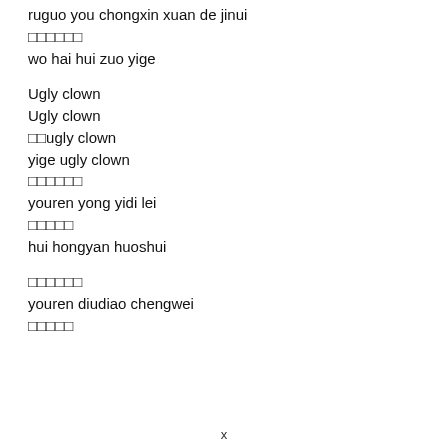ruguo you chongxin xuan de jinui
□□□□□□
wo hai hui zuo yige
Ugly clown
Ugly clown
□□ugly clown
yige ugly clown
□□□□□□
youren yong yidi lei
□□□□□
hui hongyan huoshui
□□□□□□
youren diudiao chengwei
□□□□□
x